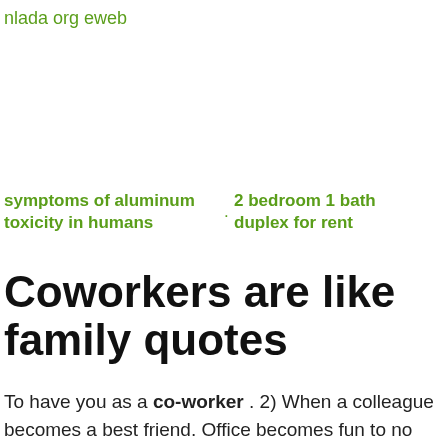nlada org eweb
symptoms of aluminum toxicity in humans
2 bedroom 1 bath duplex for rent
Coworkers are like family quotes
To have you as a co-worker . 2) When a colleague becomes a best friend. Office becomes fun to no end. When a colleague becomes a true mate. There are always
lifetime 48
x 30
folding